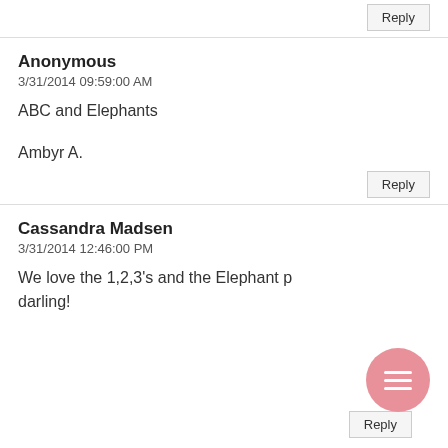Reply
Anonymous
3/31/2014 09:59:00 AM
ABC and Elephants
Ambyr A.
Reply
Cassandra Madsen
3/31/2014 12:46:00 PM
We love the 1,2,3's and the Elephant p... darling!
Reply